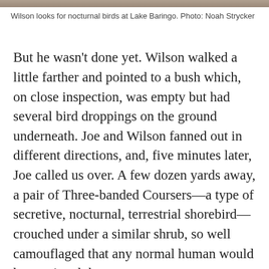[Figure (photo): Top strip of a photo showing Wilson looking for nocturnal birds at Lake Baringo]
Wilson looks for nocturnal birds at Lake Baringo. Photo: Noah Strycker
But he wasn't done yet. Wilson walked a little farther and pointed to a bush which, on close inspection, was empty but had several bird droppings on the ground underneath. Joe and Wilson fanned out in different directions, and, five minutes later, Joe called us over. A few dozen yards away, a pair of Three-banded Coursers—a type of secretive, nocturnal, terrestrial shorebird—crouched under a similar shrub, so well camouflaged that any normal human would have missed them.
Wilson took us to another tree and pointed out a pair of African Scops-Owls sleeping the day away, then marched us into a ravine where he deftly